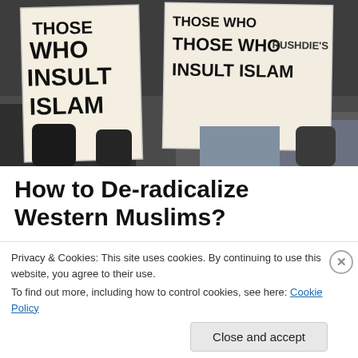[Figure (photo): Protest photo showing people holding signs reading 'THOSE WHO INSULT ISLAM' and 'THOSE WHO INSULT ISLAM RUSHDIE'S']
How to De-radicalize Western Muslims?
Taj Hashmi* Clarksville, January 7, 2014 (Alochonaa): SEVERAL Bangladeshi-British youths have recently been indicted in Britain for their alleged links with the ISIS.
Privacy & Cookies: This site uses cookies. By continuing to use this website, you agree to their use.
To find out more, including how to control cookies, see here: Cookie Policy